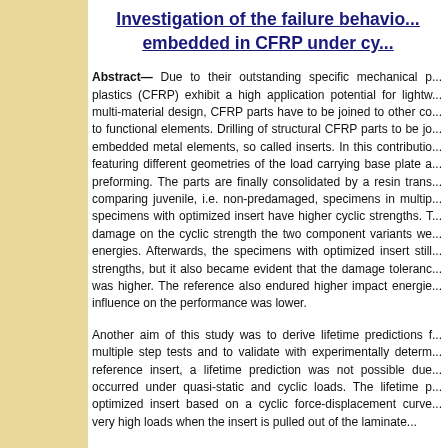Investigation of the failure behavior of inserts embedded in CFRP under cy...
Abstract— Due to their outstanding specific mechanical properties, carbon fiber reinforced plastics (CFRP) exhibit a high application potential for lightweight structures. In multi-material design, CFRP parts have to be joined to other components or connected to functional elements. Drilling of structural CFRP parts to be joined can be avoided by embedded metal elements, so called inserts. In this contribution, two insert variants featuring different geometries of the load carrying base plate are compared after preforming. The parts are finally consolidated by a resin transfer molding process. By comparing juvenile, i.e. non-predamaged, specimens in multiple step tests, the specimens with optimized insert have higher cyclic strengths. To investigate the influence of damage on the cyclic strength the two component variants were loaded with defined impact energies. Afterwards, the specimens with optimized insert still showed higher cyclic strengths, but it also became evident that the damage tolerance of the optimized insert was higher. The reference also endured higher impact energies before failure, but the influence on the performance was lower.
Another aim of this study was to derive lifetime predictions from the results of multiple step tests and to validate with experimentally determined S-N curves. For the reference insert, a lifetime prediction was not possible due to the brittle failure behavior that occurred under quasi-static and cyclic loads. The lifetime prediction was possible for the optimized insert based on a cyclic force-displacement curve showing a load drop at very high loads when the insert is pulled out of the laminate.